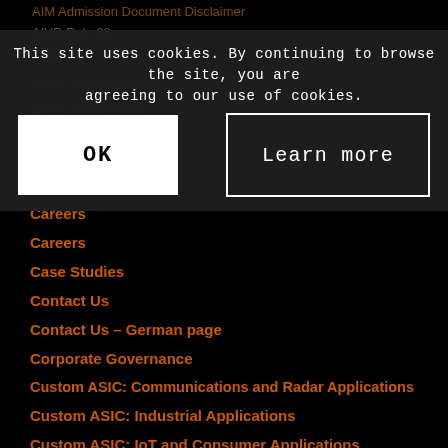AIM Admission Document Disclaimer
AIVR Rule 29
Analog IP
ASIC Consultation
ASIC Verification
ASIC-Entwurf
automotive
Careers
Careers
Case Studies
Contact Us
Contact Us – German page
Corporate Governance
Custom ASIC: Communications and Radar Applications
Custom ASIC: Industrial Applications
Custom ASIC: IoT and Consumer Applications
Custom ASIC: RF & Communications
This site uses cookies. By continuing to browse the site, you are agreeing to our use of cookies.
OK
Learn more